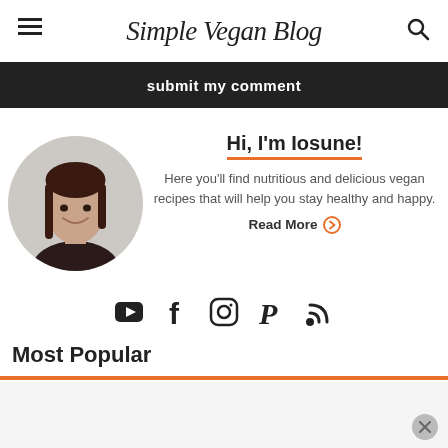Simple Vegan Blog
submit my comment
[Figure (photo): Circular profile photo of a woman with dark hair smiling]
Hi, I'm Iosune!
Here you'll find nutritious and delicious vegan recipes that will help you stay healthy and happy.
Read More
[Figure (infographic): Social media icons: YouTube, Facebook, Instagram, Pinterest, RSS]
Most Popular